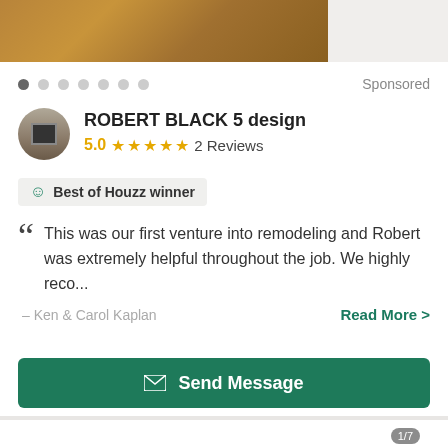[Figure (photo): Top banner photo of dirt/landscape terrain, brownish earthy tones]
Sponsored
ROBERT BLACK 5 design
5.0 ★★★★★ 2 Reviews
Best of Houzz winner
This was our first venture into remodeling and Robert was extremely helpful throughout the job. We highly reco...
– Ken & Carol Kaplan
Read More >
Send Message
[Figure (photo): Bottom partial image showing sky, clouds and trees, with 1/7 counter badge]